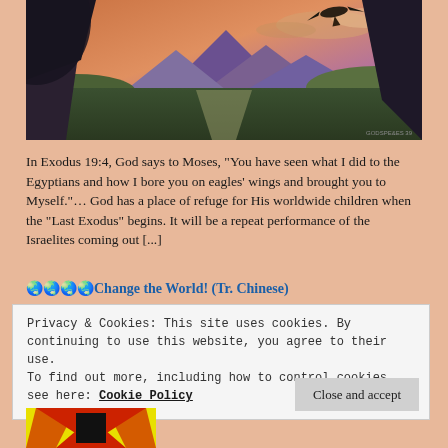[Figure (illustration): Fantasy landscape with eagle flying over mountains and valley at sunset/dawn, viewed from a cave opening. Dark rocky foreground, purple mountains, orange sky.]
In Exodus 19:4, God says to Moses, “You have seen what I did to the Egyptians and how I bore you on eagles’ wings and brought you to Myself.”… God has a place of refuge for His worldwide children when the “Last Exodus” begins. It will be a repeat performance of the Israelites coming out [...]
🌏🌏🌏🌏Change the World! (Tr. Chinese)
Privacy & Cookies: This site uses cookies. By continuing to use this website, you agree to their use.
To find out more, including how to control cookies, see here: Cookie Policy
Close and accept
[Figure (illustration): Partial view of colorful image with yellow, red and black geometric shapes at bottom of page.]